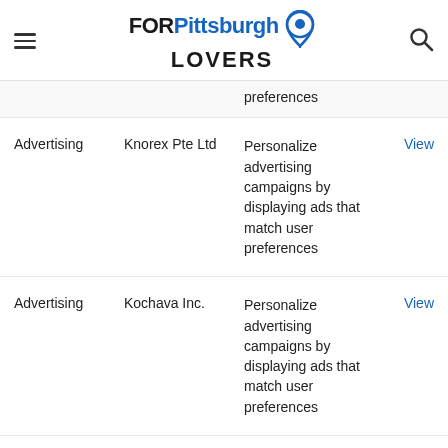FOR Pittsburgh LOVERS
| Type | Name | Description |  |
| --- | --- | --- | --- |
| Advertising | Knorex Pte Ltd | Personalize advertising campaigns by displaying ads that match user preferences | View |
| Advertising | Kochava Inc. | Personalize advertising campaigns by displaying ads that match user preferences | View |
| Advertising |  | Personalize advertising campaigns by... |  |